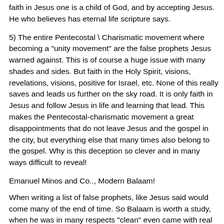faith in Jesus one is a child of God, and by accepting Jesus. He who believes has eternal life scripture says.
5) The entire Pentecostal \ Charismatic movement where becoming a "unity movement" are the false prophets Jesus warned against. This is of course a huge issue with many shades and sides. But faith in the Holy Spirit, visions, revelations, visions, positive for Israel, etc. None of this really saves and leads us further on the sky road. It is only faith in Jesus and follow Jesus in life and learning that lead. This makes the Pentecostal-charismatic movement a great disappointments that do not leave Jesus and the gospel in the city, but everything else that many times also belong to the gospel. Why is this deception so clever and in many ways difficult to reveal!
Emanuel Minos and Co.., Modern Balaam!
When writing a list of false prophets, like Jesus said would come many of the end of time. So Balaam is worth a study, when he was in many respects "clean" even came with real Messiah prophecy, and blessed God's people the Jews. But